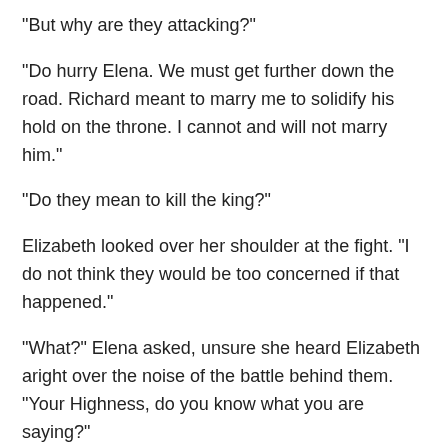"But why are they attacking?"
"Do hurry Elena. We must get further down the road. Richard meant to marry me to solidify his hold on the throne. I cannot and will not marry him."
"Do they mean to kill the king?"
Elizabeth looked over her shoulder at the fight. "I do not think they would be too concerned if that happened."
"What?" Elena asked, unsure she heard Elizabeth aright over the noise of the battle behind them. "Your Highness, do you know what you are saying?"